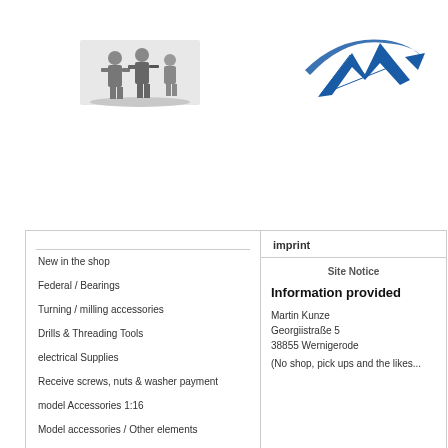[Figure (illustration): Left logo: soldiers/military figures illustration in grayscale]
[Figure (logo): Right logo: blue swoosh/arrow brand mark]
New in the shop
Federal / Bearings
Turning / milling accessories
Drills & Threading Tools
electrical Supplies
Receive screws, nuts & washer payment
model Accessories 1:16
Model accessories / Other elements
imprint
Site Notice
Information provided
Martin Kunze
Georgiistraße 5
38855 Wernigerode
(No shop, pick ups and the likes...